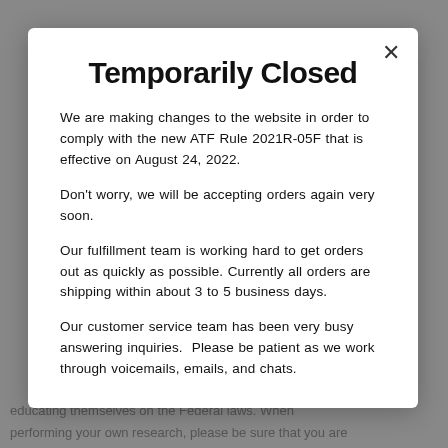Temporarily Closed
We are making changes to the website in order to comply with the new ATF Rule 2021R-05F that is effective on August 24, 2022.
Don't worry, we will be accepting orders again very soon.
Our fulfillment team is working hard to get orders out as quickly as possible. Currently all orders are shipping within about 3 to 5 business days.
Our customer service team has been very busy answering inquiries.  Please be patient as we work through voicemails, emails, and chats.
educating themselves on the Federal laws. When performing your own research, please be sure that you are